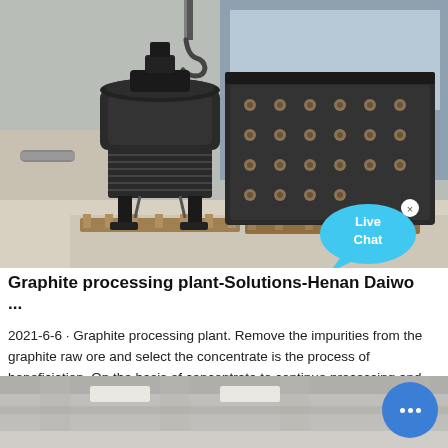[Figure (photo): Industrial heavy machinery - cone crusher and hammer mill equipment in a factory/warehouse setting, photographed from floor level. Equipment is black/dark metal, placed on wooden pallets.]
Graphite processing plant-Solutions-Henan Daiwo ...
2021-6-6 · Graphite processing plant. Remove the impurities from the graphite raw ore and select the concentrate is the process of beneficiation. On the basis of concentrate to continue processing and improving the carb...
[Figure (photo): Bottom portion of an industrial building interior, showing concrete ceiling/beams and walls with lighting fixtures.]